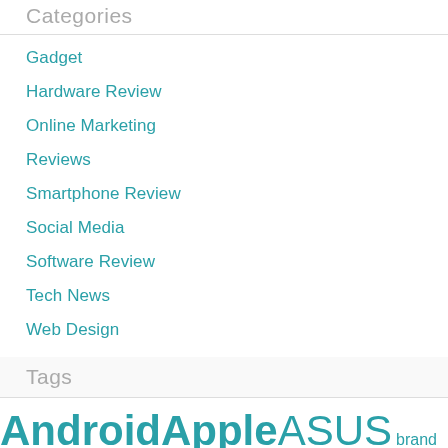Categories
Gadget
Hardware Review
Online Marketing
Reviews
Smartphone Review
Social Media
Software Review
Tech News
Web Design
Tags
Android Apple ASUS brand College Students computer